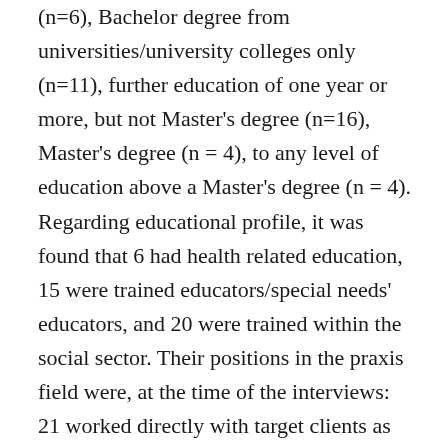(n=6), Bachelor degree from universities/university colleges only (n=11), further education of one year or more, but not Master's degree (n=16), Master's degree (n = 4), to any level of education above a Master's degree (n = 4). Regarding educational profile, it was found that 6 had health related education, 15 were trained educators/special needs' educators, and 20 were trained within the social sector. Their positions in the praxis field were, at the time of the interviews: 21 worked directly with target clients as teachers or therapists, 12 held more of an administrative role, and 8 acted mainly as counsellors/advisors. Thirty-three were linked to municipal services, one to the county level, and seven served at the governmental level (state employed). Their institutional affiliations were: